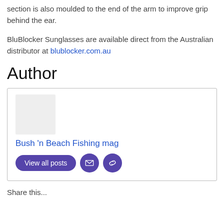section is also moulded to the end of the arm to improve grip behind the ear.
BluBlocker Sunglasses are available direct from the Australian distributor at blublocker.com.au
Author
[Figure (other): Author box with image placeholder, name 'Bush 'n Beach Fishing mag', View all posts button, email icon button, and link icon button]
Share this...